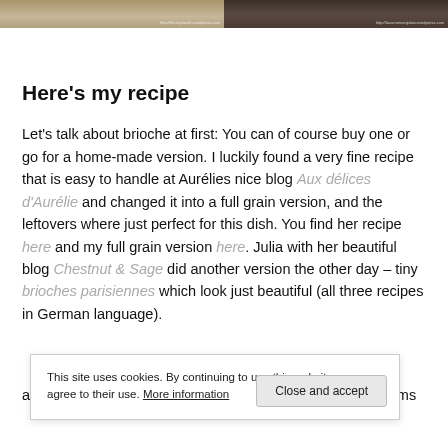[Figure (photo): Two food/recipe photos side by side with watermark URLs at bottom]
Here's my recipe
Let's talk about brioche at first: You can of course buy one or go for a home-made version. I luckily found a very fine recipe that is easy to handle at Aurélies nice blog Aux délices d'Aurélie and changed it into a full grain version, and the leftovers where just perfect for this dish. You find her recipe here and my full grain version here. Julia with her beautiful blog Chestnut & Sage did another version the other day – tiny brioches parisiennes which look just beautiful (all three recipes in German language).
are fried. Clean and cut a handful of king trumpet mushrooms
This site uses cookies. By continuing to use this website, you agree to their use. More information
Close and accept